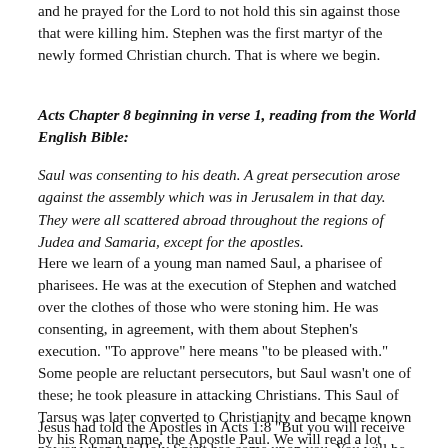and he prayed for the Lord to not hold this sin against those that were killing him. Stephen was the first martyr of the newly formed Christian church. That is where we begin.
Acts Chapter 8 beginning in verse 1, reading from the World English Bible:
Saul was consenting to his death. A great persecution arose against the assembly which was in Jerusalem in that day. They were all scattered abroad throughout the regions of Judea and Samaria, except for the apostles.
Here we learn of a young man named Saul, a pharisee of pharisees. He was at the execution of Stephen and watched over the clothes of those who were stoning him. He was consenting, in agreement, with them about Stephen’s execution. “To approve” here means “to be pleased with.” Some people are reluctant persecutors, but Saul wasn’t one of these; he took pleasure in attacking Christians. This Saul of Tarsus was later converted to Christianity and became known by his Roman name, the Apostle Paul. We will read a lot about him as we study Acts.
Jesus had told the Apostles in Acts 1:8 “But you will receive power when the Holy Spirit has come upon you. You will be witnesses to me in Jerusalem, in all Judea and Samaria, and